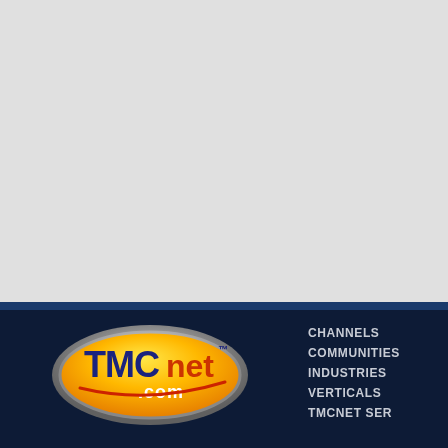[Figure (logo): TMCnet.com logo — oval metallic badge with yellow/orange background, blue TMC text, net in orange, .com below, red swoosh accent]
CHANNELS
COMMUNITIES
INDUSTRIES
VERTICALS
TMCNET SER